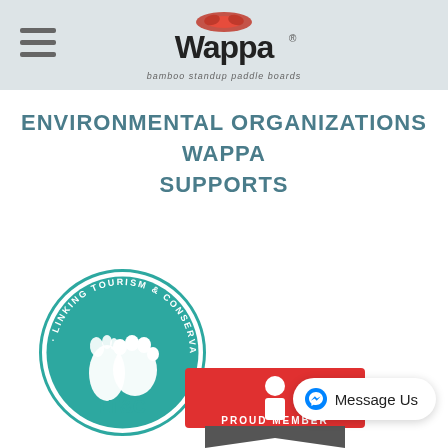Wappa - bamboo standup paddle boards
ENVIRONMENTAL ORGANIZATIONS WAPPA SUPPORTS
[Figure (logo): LT&C - Linking Tourism & Conservation circular logo with paw print and footprint icon in teal]
[Figure (logo): Proud Member badge - partial red and grey badge visible at bottom of page]
[Figure (logo): Message Us button with Facebook Messenger icon]